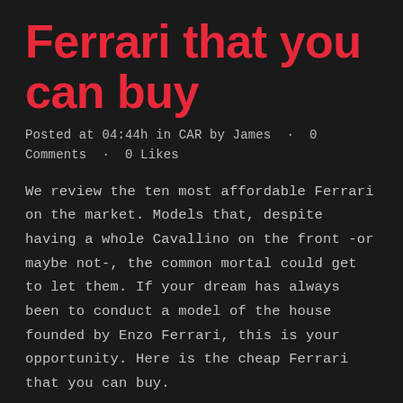Ferrari that you can buy
Posted at 04:44h in CAR by James · 0 Comments · 0 Likes
We review the ten most affordable Ferrari on the market. Models that, despite having a whole Cavallino on the front -or maybe not-, the common mortal could get to let them. If your dream has always been to conduct a model of the house founded by Enzo Ferrari, this is your opportunity. Here is the cheap Ferrari that you can buy.
Ferrari Mondial